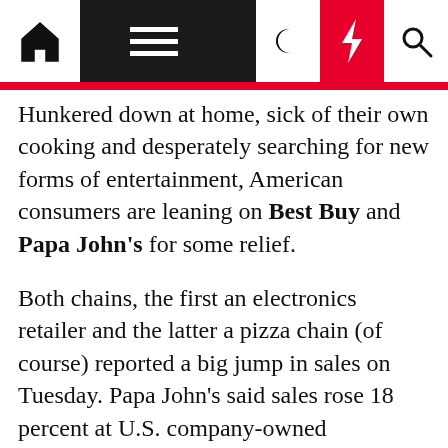[Navigation bar: home icon, menu, moon, lightning, search icons]
Hunkered down at home, sick of their own cooking and desperately searching for new forms of entertainment, American consumers are leaning on Best Buy and Papa John's for some relief.
Both chains, the first an electronics retailer and the latter a pizza chain (of course) reported a big jump in sales on Tuesday. Papa John's said sales rose 18 percent at U.S. company-owned restaurants between July 27 and August 23, compared with the same time frame last year.
At Best Buy, which on Tuesday reported its results for the three months through Aug. 1, domestic online sales surged 242 percent. Total U.S. same-store sales rose 5 percent in that period.
“Products that help people work, learn, connect and